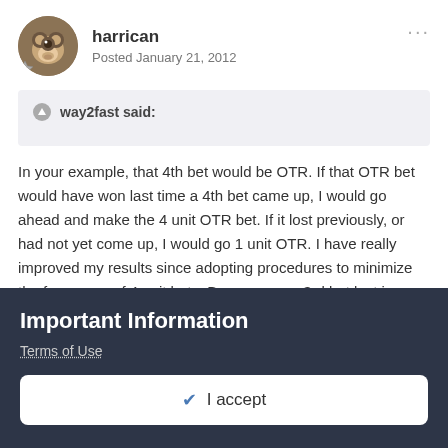[Figure (illustration): Round avatar image of a cartoon monkey character, with a small hexagonal badge overlay at bottom-left]
harrican
Posted January 21, 2012
way2fast said:
In your example, that 4th bet would be OTR. If that OTR bet would have won last time a 4th bet came up, I would go ahead and make the 4 unit OTR bet. If it lost previously, or had not yet come up, I would go 1 unit OTR. I have really improved my results since adopting procedures to minimize the frequency of 4 unit bets. Because your 3rd bet lost in Mode 3, you now switch to Mode 2.
Ok, I think I got it. So Even If we win the OTR bet (4th Bet) with a
Important Information
Terms of Use
✔  I accept